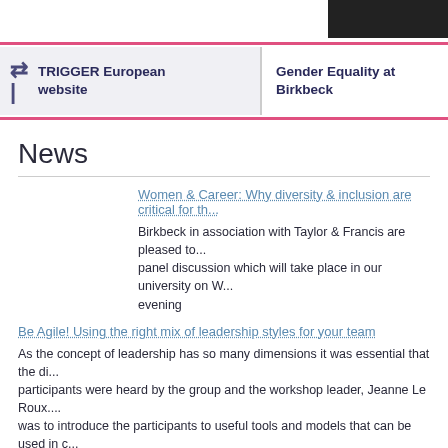[Figure (photo): Dark photograph in top right corner]
TRIGGER European website | Gender Equality at Birkbeck
News
Women & Career: Why diversity & inclusion are critical for th...
Birkbeck in association with Taylor & Francis are pleased to... panel discussion which will take place in our university on W... evening
Be Agile! Using the right mix of leadership styles for your team
As the concept of leadership has so many dimensions it was essential that the di... participants were heard by the group and the workshop leader, Jeanne Le Roux.... was to introduce the participants to useful tools and models that can be used in c...
Be Agile! Using the right mix of leadership styles for your team
In this pragmatic and interactive workshop, Jeanne Le Roux will introduce the pa... models that can enable you to grow yourself as leader. The workshop will show h... patterns in your team dynamics. It will provide a model of how to use the right sty...
Is leadership gender bias from it roots?